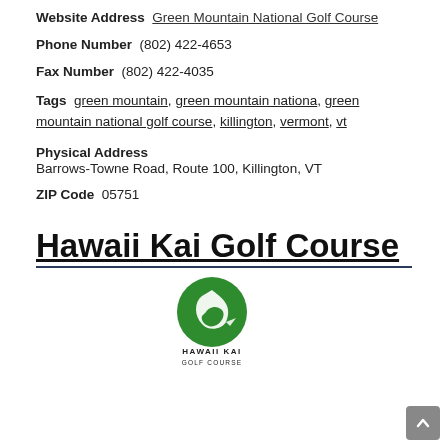Website Address  Green Mountain National Golf Course
Phone Number  (802) 422-4653
Fax Number  (802) 422-4035
Tags  green mountain, green mountain nationa, green mountain national golf course, killington, vermont, vt
Physical Address
Barrows-Towne Road, Route 100, Killington, VT
ZIP Code  05751
Hawaii Kai Golf Course
[Figure (logo): Hawaii Kai Golf Course logo: green circle with white bird/leaf silhouette, text HAWAII KAI GOLF COURSE below]